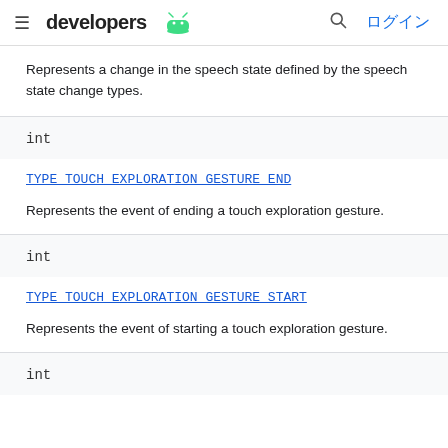developers | ログイン
Represents a change in the speech state defined by the speech state change types.
| int |
| TYPE_TOUCH_EXPLORATION_GESTURE_END |
| Represents the event of ending a touch exploration gesture. |
| int |
| TYPE_TOUCH_EXPLORATION_GESTURE_START |
| Represents the event of starting a touch exploration gesture. |
| int |